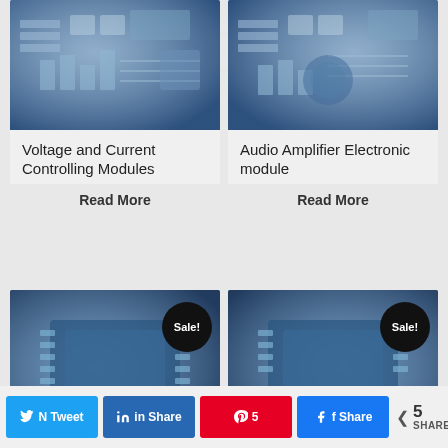[Figure (photo): Close-up photo of blue-tinted electronic circuit board with components]
Voltage and Current Controlling Modules
Read More
[Figure (photo): Close-up photo of blue-tinted electronic circuit board with components]
Audio Amplifier Electronic module
Read More
[Figure (photo): Close-up photo of blue-tinted electronic chip/IC component with Sale! badge]
[Figure (photo): Close-up photo of blue-tinted electronic chip/IC component with Sale! badge]
N Tweet
in Share
5
f Share
5 SHARES